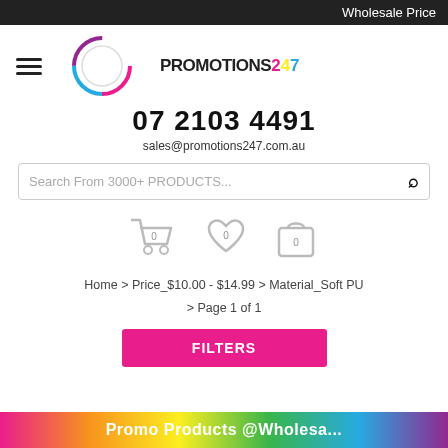Wholesale Price
[Figure (logo): Promotions247 logo with circular multicolour ring and text PROMOTIONS247]
07 2103 4491
sales@promotions247.com.au
Search From 3000+ PRODUCTS...
[Figure (infographic): Shopping cart, heart and bag icons each showing count 0]
Home > Price_$10.00 - $14.99 > Material_Soft PU > Page 1 of 1
FILTERS
[Figure (infographic): Colourful gradient banner at bottom of page with partial text visible]